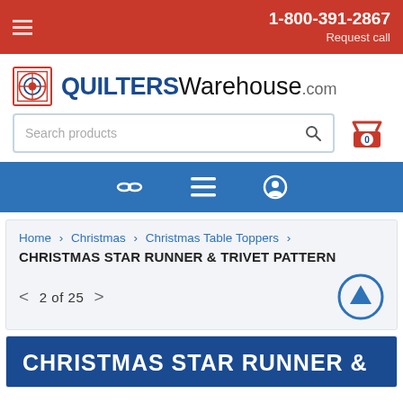1-800-391-2867 Request call
[Figure (logo): QuiltersWarehouse.com logo with quilt block icon]
Search products
[Figure (infographic): Navigation bar with chain links, menu, and user account icons]
Home > Christmas > Christmas Table Toppers > CHRISTMAS STAR RUNNER & TRIVET PATTERN
< 2 of 25 >
CHRISTMAS STAR RUNNER &